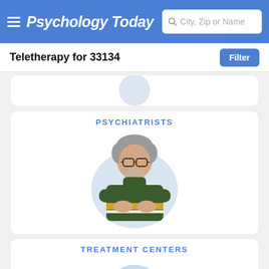Psychology Today — City, Zip or Name search
Teletherapy for 33134
[Figure (illustration): Partial card visible at top showing a circular profile avatar]
PSYCHIATRISTS
[Figure (illustration): Illustration of a man with gray hair and glasses wearing a dark green turtleneck sweater with yellow stripe, arms crossed, on a light blue oval background]
TREATMENT CENTERS
[Figure (illustration): Illustration of a treatment center building with palm trees, a pool, and tropical vegetation on a light blue circular background]